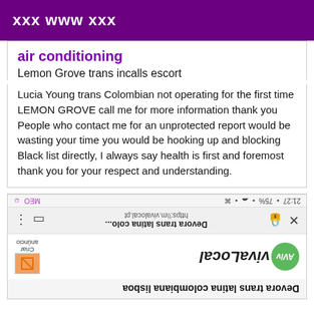xxx www xxx
air conditioning
Lemon Grove trans incalls escort
Lucia Young trans Colombian not operating for the first time LEMON GROVE call me for more information thank you People who contact me for an unprotected report would be wasting your time you would be hooking up and blocking Black list directly, I always say health is first and foremost thank you for your respect and understanding.
[Figure (screenshot): Mirrored/upside-down screenshot of a mobile browser showing a tab for 'Devora trans latina colo...' at https://m.vivalocal.pt, with MEO carrier, battery and signal icons, a lock icon, bookmark and menu icons, the vivaLocal logo with a green circle containing 'AViv', a creation/announcement icon, and a bottom bar showing mirrored text 'Devora trans latina colombiana lisboa']